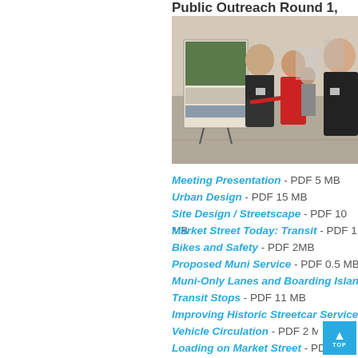Public Outreach Round 1,
[Figure (photo): People at a public outreach meeting looking at design boards on a display stand. A woman in a red sweater points at the boards while two men observe.]
Meeting Presentation - PDF 5 MB
Urban Design - PDF 15 MB
Site Design / Streetscape - PDF 10 MB
Market Street Today: Transit - PDF 1 M
Bikes and Safety - PDF 2MB
Proposed Muni Service - PDF 0.5 MB
Muni-Only Lanes and Boarding Islands
Transit Stops - PDF 11 MB
Improving Historic Streetcar Service -
Vehicle Circulation - PDF 2 MB
Loading on Market Street - PDF 3 M